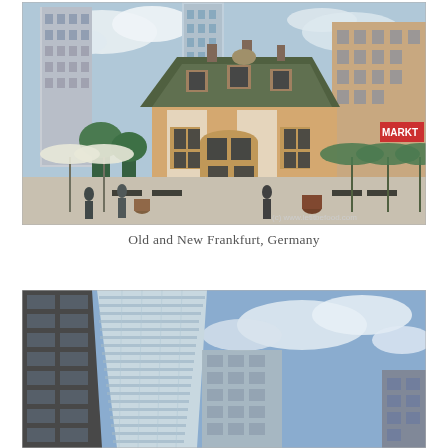[Figure (photo): Photo of an old historic building (Frankfurt Hauptwache or similar old structure) surrounded by modern skyscrapers in Frankfurt, Germany. Outdoor cafe seating visible. Watermark: (c) www.letitbefood.com]
Old and New Frankfurt, Germany
[Figure (photo): Close-up upward-angle photo of modern glass and concrete skyscrapers in Frankfurt, Germany, against a partly cloudy blue sky.]